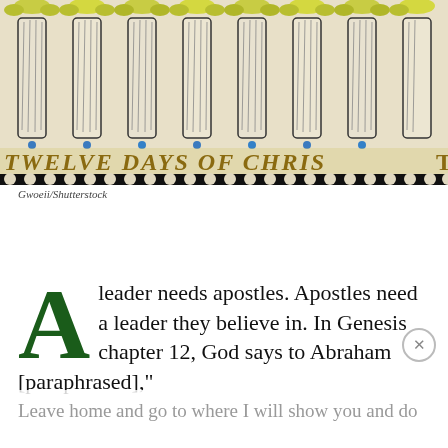[Figure (illustration): Detail of an illuminated manuscript page showing decorative robes or figures in blue and yellow/gold with black dotted border at bottom, with text 'TWELVE DAYS OF CHRIS...' in gold Gothic lettering across the lower portion of the image.]
Gwoeii/Shutterstock
A leader needs apostles. Apostles need a leader they believe in. In Genesis chapter 12, God says to Abraham [paraphrased],"
Leave home and go to where I will show you and do